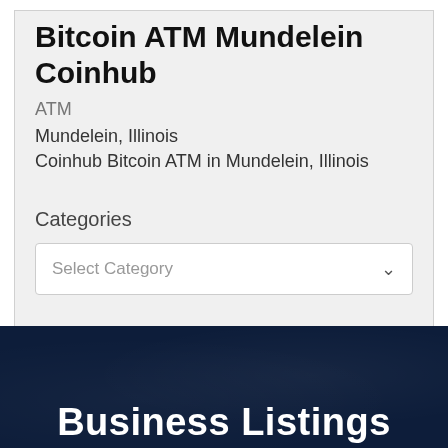Bitcoin ATM Mundelein Coinhub
ATM
Mundelein, Illinois
Coinhub Bitcoin ATM in Mundelein, Illinois
Categories
Select Category
Business Listings